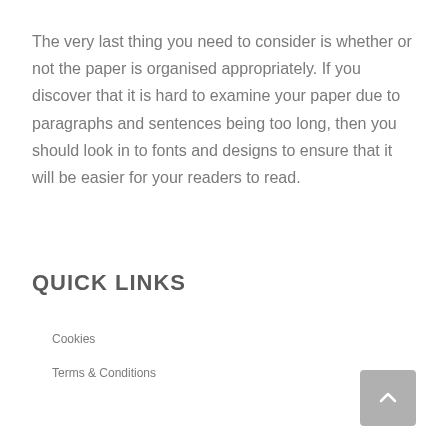The very last thing you need to consider is whether or not the paper is organised appropriately. If you discover that it is hard to examine your paper due to paragraphs and sentences being too long, then you should look in to fonts and designs to ensure that it will be easier for your readers to read.
QUICK LINKS
Cookies
Terms & Conditions